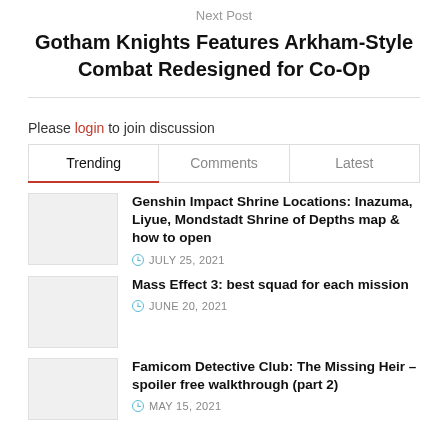Next Post
Gotham Knights Features Arkham-Style Combat Redesigned for Co-Op
Please login to join discussion
| Trending | Comments | Latest |
| --- | --- | --- |
Genshin Impact Shrine Locations: Inazuma, Liyue, Mondstadt Shrine of Depths map & how to open
JULY 25, 2021
Mass Effect 3: best squad for each mission
JUNE 20, 2021
Famicom Detective Club: The Missing Heir – spoiler free walkthrough (part 2)
MAY 15, 2021